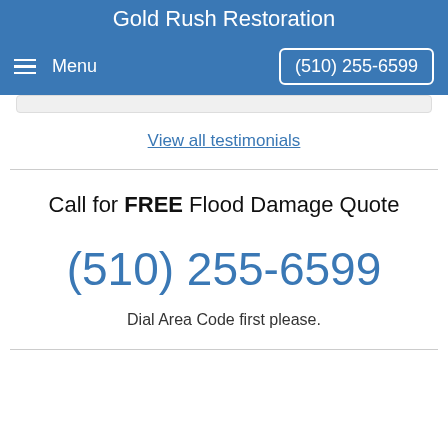Gold Rush Restoration
Menu   (510) 255-6599
View all testimonials
Call for FREE Flood Damage Quote
(510) 255-6599
Dial Area Code first please.